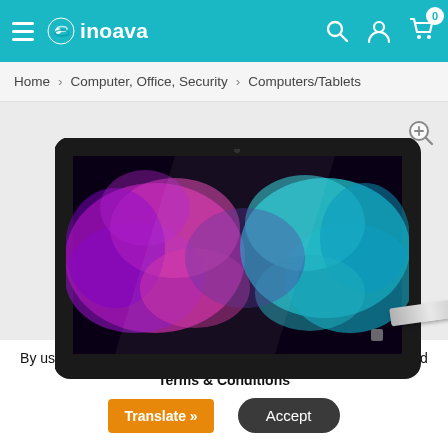inoava — navigation header with hamburger menu, search, user, and cart icons
Home > Computer, Office, Security > Computers/Tablets
[Figure (photo): A tablet device (Microsoft Surface-style) displaying colorful pink and teal smoke art on its screen, with a stylus pen resting beside it on the right side]
By using this website you agree to accept our Privacy Policy and Terms & Conditions
Translate »
Accept